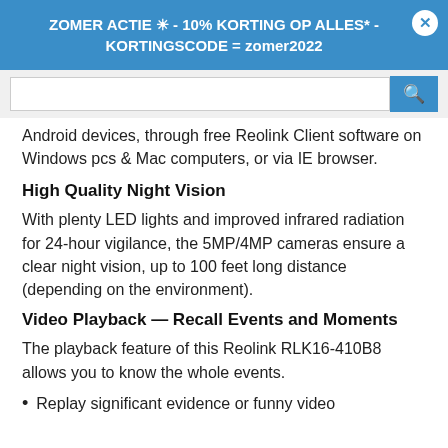ZOMER ACTIE ☀ - 10% KORTING OP ALLES* - KORTINGSCODE = zomer2022
Android devices, through free Reolink Client software on Windows pcs & Mac computers, or via IE browser.
High Quality Night Vision
With plenty LED lights and improved infrared radiation for 24-hour vigilance, the 5MP/4MP cameras ensure a clear night vision, up to 100 feet long distance (depending on the environment).
Video Playback — Recall Events and Moments
The playback feature of this Reolink RLK16-410B8 allows you to know the whole events.
Replay significant evidence or funny video